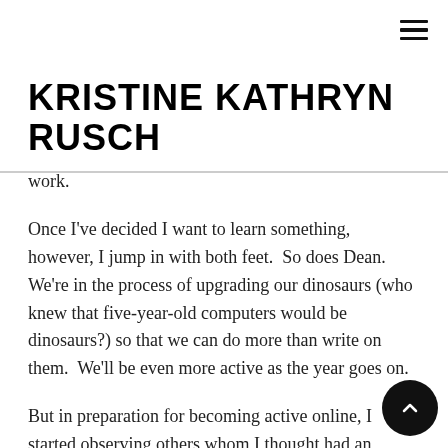≡ (hamburger menu icon)
KRISTINE KATHRYN RUSCH
work.
Once I've decided I want to learn something, however, I jump in with both feet.  So does Dean. We're in the process of upgrading our dinosaurs (who knew that five-year-old computers would be dinosaurs?) so that we can do more than write on them.  We'll be even more active as the year goes on.
But in preparation for becoming active online, I started observing others whom I thought had an effective online presence.  There's a lot to online networking, some of which